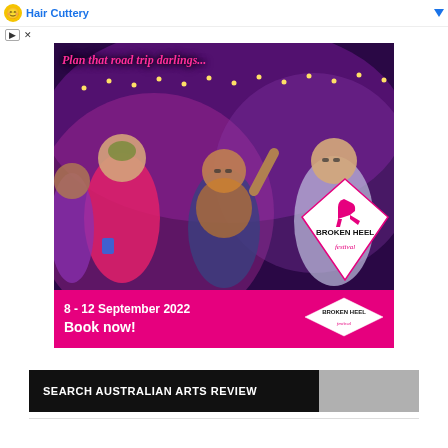Hair Cuttery
[Figure (photo): Promotional advertisement for Broken Heel Festival 2022. Shows group of women in colorful costumes and feather boas celebrating outdoors at night with string lights. Text overlay: 'Plan that road trip darlings...' and '8 - 12 September 2022 Book now!' with Broken Heel Festival logo (diamond shape with high heel shoe icon).]
SEARCH AUSTRALIAN ARTS REVIEW